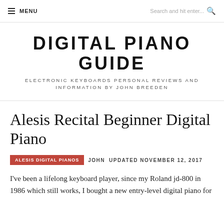☰ MENU   Search and hit enter... 🔍
DIGITAL PIANO GUIDE
ELECTRONIC KEYBOARDS PERSONAL REVIEWS AND INFORMATION BY JOHN BREEDEN
Alesis Recital Beginner Digital Piano
ALESIS DIGITAL PIANOS   JOHN   UPDATED NOVEMBER 12, 2017
I've been a lifelong keyboard player, since my Roland jd-800 in 1986 which still works, I bought a new entry-level digital piano for